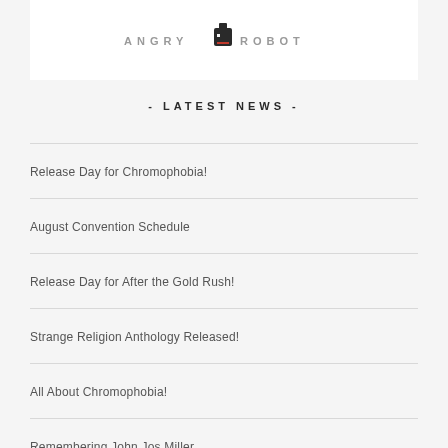[Figure (logo): Angry Robot publisher logo — text 'ANGRY ROBOT' with stylized half-circle robot head icon in dark grey/black]
- LATEST NEWS -
Release Day for Chromophobia!
August Convention Schedule
Release Day for After the Gold Rush!
Strange Religion Anthology Released!
All About Chromophobia!
Remembering John Jos Miller